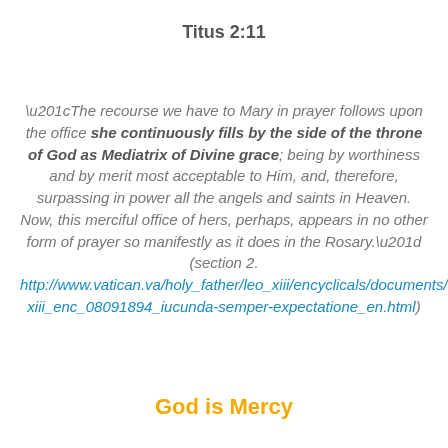Titus 2:11
“The recourse we have to Mary in prayer follows upon the office she continuously fills by the side of the throne of God as Mediatrix of Divine grace; being by worthiness and by merit most acceptable to Him, and, therefore, surpassing in power all the angels and saints in Heaven. Now, this merciful office of hers, perhaps, appears in no other form of prayer so manifestly as it does in the Rosary.” (section 2. http://www.vatican.va/holy_father/leo_xiii/encyclicals/documents/hf_l-xiii_enc_08091894_iucunda-semper-expectatione_en.html)
God is Mercy